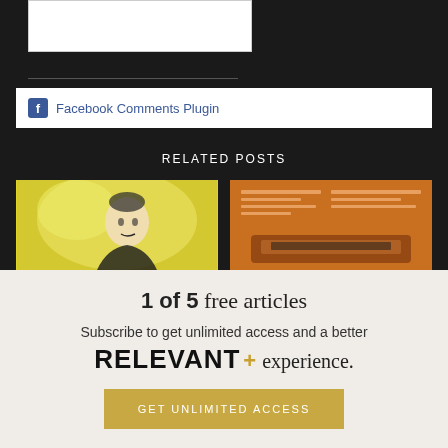[Figure (screenshot): Facebook Comments Plugin bar with Facebook icon and blue link text]
RELATED POSTS
[Figure (photo): Yellow-tinted stylized portrait of a bald man]
[Figure (photo): Orange-tinted image of what appears to be a typewriter or newspaper]
1 of 5 free articles
Subscribe to get unlimited access and a better RELEVANT+ experience.
GET UNLIMITED ACCESS